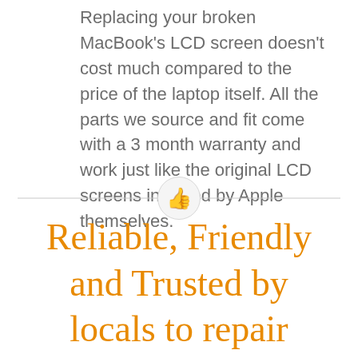Replacing your broken MacBook's LCD screen doesn't cost much compared to the price of the laptop itself. All the parts we source and fit come with a 3 month warranty and work just like the original LCD screens installed by Apple themselves.
[Figure (illustration): A horizontal divider line with a thumbs-up emoji icon centered in a circle over the line]
Reliable, Friendly and Trusted by locals to repair